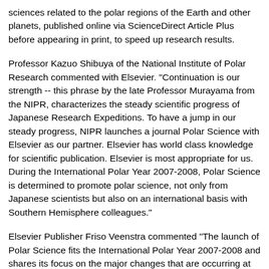sciences related to the polar regions of the Earth and other planets, published online via ScienceDirect Article Plus before appearing in print, to speed up research results.
Professor Kazuo Shibuya of the National Institute of Polar Research commented with Elsevier. "Continuation is our strength -- this phrase by the late Professor Murayama from the NIPR, characterizes the steady scientific progress of Japanese Research Expeditions. To have a jump in our steady progress, NIPR launches a journal Polar Science with Elsevier as our partner. Elsevier has world class knowledge for scientific publication. Elsevier is most appropriate for us. During the International Polar Year 2007-2008, Polar Science is determined to promote polar science, not only from Japanese scientists but also on an international basis with Southern Hemisphere colleagues."
Elsevier Publisher Friso Veenstra commented "The launch of Polar Science fits the International Polar Year 2007-2008 and shares its focus on the major changes that are occurring at present. The polar regions contain unique information on the earth system, while at the same time they are growing in economic and strategic value. PS will therefore be an important new addition to Elsevier's earth and space list. We greatly look forward to our partnership with the NIPR and to achieving maximum global reach and visibility for Polar Science."